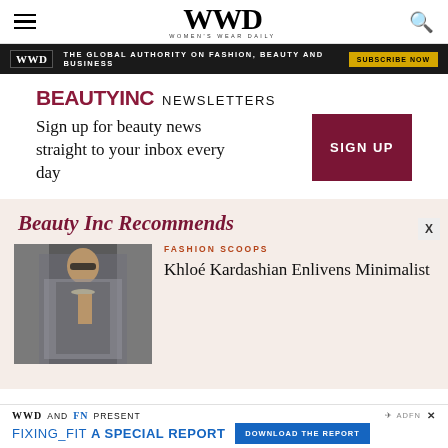WWD — Women's Wear Daily
[Figure (infographic): WWD promotional banner: 'THE GLOBAL AUTHORITY ON FASHION, BEAUTY AND BUSINESS' with SUBSCRIBE NOW button]
BEAUTY INC NEWSLETTERS
Sign up for beauty news straight to your inbox every day
[Figure (infographic): Beauty Inc Recommends section with article card: FASHION SCOOPS — Khloé Kardashian Enlivens Minimalist [headline continues off-page], with a photo of a woman in a grey patterned coat and black dress]
WWD AND FN PRESENT FIXING_FIT A SPECIAL REPORT — DOWNLOAD THE REPORT